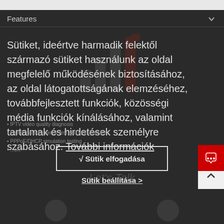Features
Sütiket, ideértve harmadik felektől származó sütiket használunk az oldal megfelelő működésének biztosításához, az oldal látogatottságának elemzéséhez, továbbfejlesztett funkciók, közösségi média funkciók kínálásához, valamint tartalmak és hirdetések személyre szabásához. További információk
√ Sütik elfogadása
Sütik beállítása >